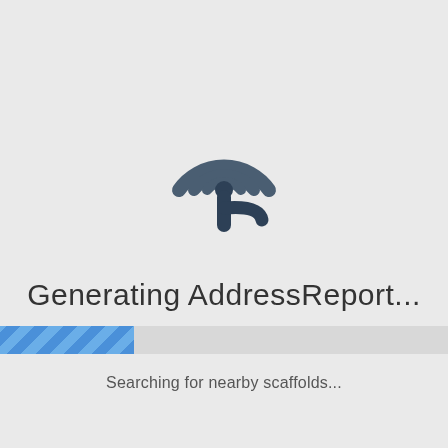[Figure (logo): Circular antenna/signal icon with a stylized letter R shape, dark slate/navy color]
Generating AddressReport...
[Figure (infographic): A horizontal progress bar approximately 30% filled with a blue diagonal stripe pattern on a light gray track, spanning the full page width]
Searching for nearby scaffolds...